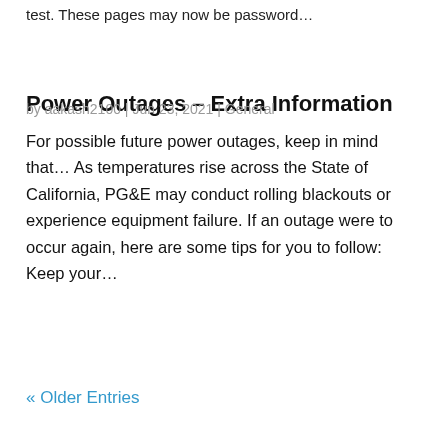test. These pages may now be password…
Power Outages – Extra Information
by aakash2100 | Jun 23, 2021 | General
For possible future power outages, keep in mind that… As temperatures rise across the State of California, PG&E may conduct rolling blackouts or experience equipment failure. If an outage were to occur again, here are some tips for you to follow: Keep your…
« Older Entries